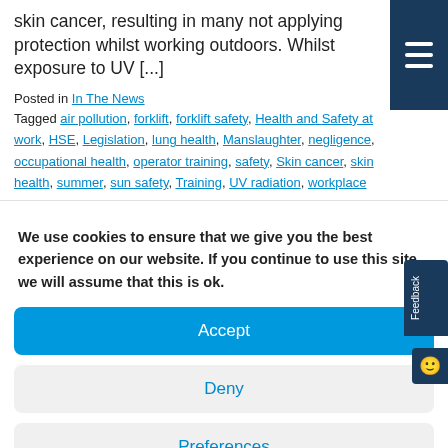skin cancer, resulting in many not applying protection whilst working outdoors. Whilst exposure to UV [...]
Posted in In The News
Tagged air pollution, forklift, forklift safety, Health and Safety at work, HSE, Legislation, lung health, Manslaughter, negligence, occupational health, operator training, safety, Skin cancer, skin health, summer, sun safety, Training, UV radiation, workplace
We use cookies to ensure that we give you the best experience on our website. If you continue to use this site we will assume that this is ok.
Accept
Deny
Preferences
Cookie Policy  Privacy Policy